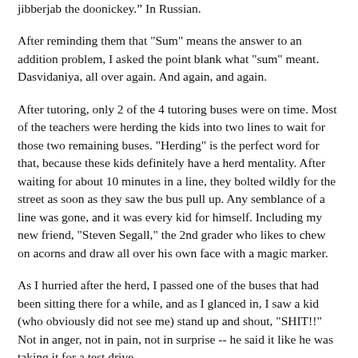jibberjab the doonickey. In Russian.
After reminding them that "Sum" means the answer to an addition problem, I asked the point blank what "sum" meant. Dasvidaniya, all over again. And again, and again.
After tutoring, only 2 of the 4 tutoring buses were on time. Most of the teachers were herding the kids into two lines to wait for those two remaining buses. "Herding" is the perfect word for that, because these kids definitely have a herd mentality. After waiting for about 10 minutes in a line, they bolted wildly for the street as soon as they saw the bus pull up. Any semblance of a line was gone, and it was every kid for himself. Including my new friend, "Steven Segall," the 2nd grader who likes to chew on acorns and draw all over his own face with a magic marker.
As I hurried after the herd, I passed one of the buses that had been sitting there for a while, and as I glanced in, I saw a kid (who obviously did not see me) stand up and shout, "SHIT!!" Not in anger, not in pain, not in surprise -- he said it like he was taking it for a test drive.